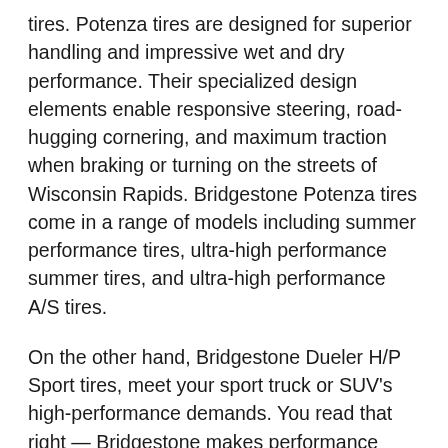tires. Potenza tires are designed for superior handling and impressive wet and dry performance. Their specialized design elements enable responsive steering, road-hugging cornering, and maximum traction when braking or turning on the streets of Wisconsin Rapids. Bridgestone Potenza tires come in a range of models including summer performance tires, ultra-high performance summer tires, and ultra-high performance A/S tires.
On the other hand, Bridgestone Dueler H/P Sport tires, meet your sport truck or SUV's high-performance demands. You read that right — Bridgestone makes performance tires for light trucks, too! Luxury SUVs and sporty trucks can benefit from the finely-tuned features of performance tires, too. Dueler tires feature precise steering and powerful handling under certain road conditions. When every second counts, you can depend on Dueler.
WHERE TO BUY BRIDGESTONE PERFORMANCE TIRES IN WISCONSIN RAPIDS, WI